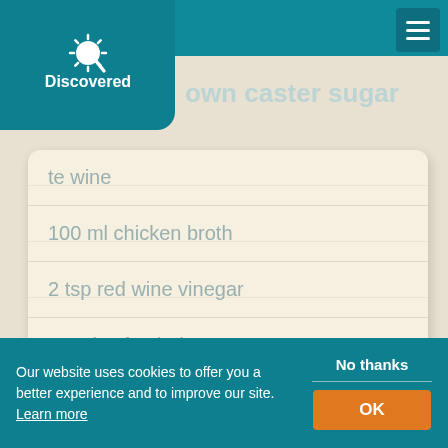Discovered
d lengthwise
own caster sugar
te wine
100 ml chicken broth
2 tsp red wine vinegar
7 sprigs fresh thyme
[Figure (other): Loading spinner (circular grey arc indicating content loading)]
A delicious main course for Christmas! This juicy
Our website uses cookies to offer you a better experience and to improve our site. Learn more
No thanks
OK